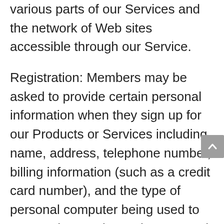various parts of our Services and the network of Web sites accessible through our Service.
Registration: Members may be asked to provide certain personal information when they sign up for our Products or Services including name, address, telephone number, billing information (such as a credit card number), and the type of personal computer being used to access the Services. The personal information collected from Members during the registration process is used to manage each Member's account